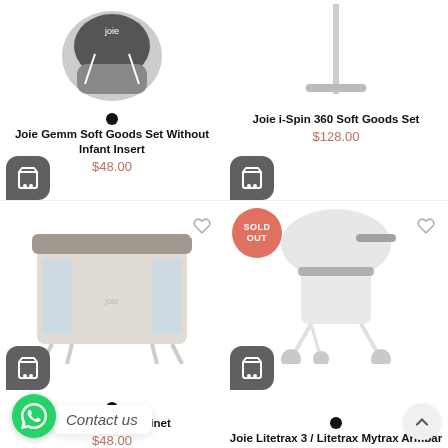[Figure (photo): Joie car seat soft goods set product image with cart badge]
Joie Gemm Soft Goods Set Without Infant Insert
$48.00
[Figure (photo): Joie i-Spin 360 product image with cart badge]
Joie i-Spin 360 Soft Goods Set
$128.00
[Figure (photo): Joie Illusion Bassinet product image with heart icon and cart badge]
Joie Illusion Bassinet
$48.00
[Figure (photo): Joie Litetrax 3 / Litetrax Mytrax Armbar stroller product image with SOLD OUT badge, heart icon, and cart badge]
Joie Litetrax 3 / Litetrax Mytrax Armbar
Contact us